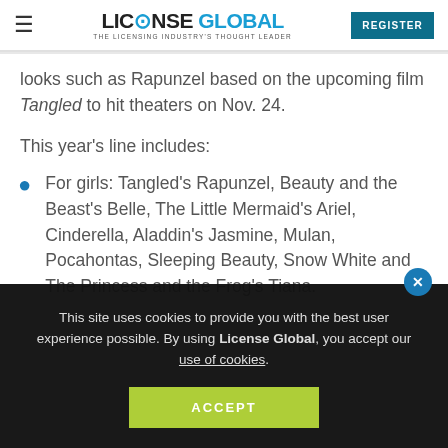LICENSE GLOBAL — THE LICENSING INDUSTRY'S THOUGHT LEADER | REGISTER
looks such as Rapunzel based on the upcoming film Tangled to hit theaters on Nov. 24.
This year's line includes:
For girls: Tangled's Rapunzel, Beauty and the Beast's Belle, The Little Mermaid's Ariel, Cinderella, Aladdin's Jasmine, Mulan, Pocahontas, Sleeping Beauty, Snow White and The Princess and the Frog's Tiana.
This site uses cookies to provide you with the best user experience possible. By using License Global, you accept our use of cookies.